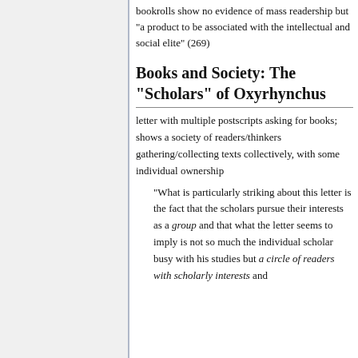bookrolls show no evidence of mass readership but "a product to be associated with the intellectual and social elite" (269)
Books and Society: The "Scholars" of Oxyrhynchus
letter with multiple postscripts asking for books; shows a society of readers/thinkers gathering/collecting texts collectively, with some individual ownership
"What is particularly striking about this letter is the fact that the scholars pursue their interests as a group and that what the letter seems to imply is not so much the individual scholar busy with his studies but a circle of readers with scholarly interests and